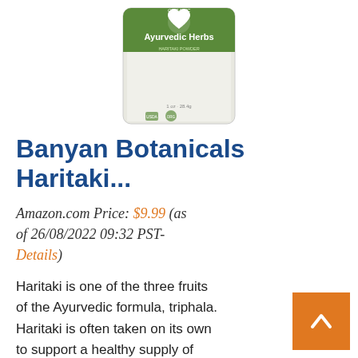[Figure (photo): Product photo of Banyan Botanicals Organic Ayurvedic Herbs container with green and white label showing a heart logo]
Banyan Botanicals Haritaki...
Amazon.com Price: $9.99 (as of 26/08/2022 09:32 PST- Details)
Haritaki is one of the three fruits of the Ayurvedic formula, triphala. Haritaki is often taken on its own to support a healthy supply of oxygen to the blood, rejuvenating and nourishing all bodily tissues.* As a super fruit, haritaki has a